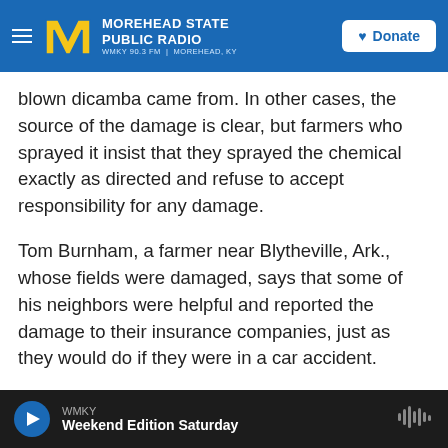Morehead State Public Radio — WMKY 90.3 FM | Morehead, KY — Donate
blown dicamba came from. In other cases, the source of the damage is clear, but farmers who sprayed it insist that they sprayed the chemical exactly as directed and refuse to accept responsibility for any damage.
Tom Burnham, a farmer near Blytheville, Ark., whose fields were damaged, says that some of his neighbors were helpful and reported the damage to their insurance companies, just as they would do if they were in a car accident.
"But there's some who were so nonchalant about the situation..."
WMKY — Weekend Edition Saturday